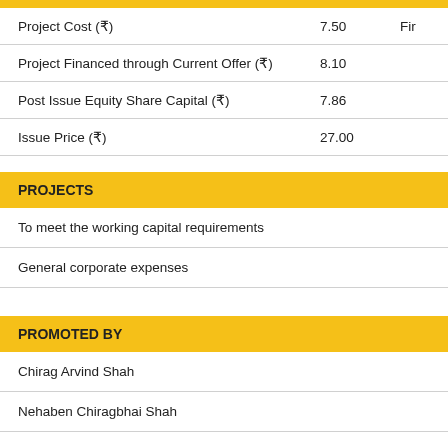|  |  |
| --- | --- |
| Project Cost (₹) | 7.50 |
| Project Financed through Current Offer (₹) | 8.10 |
| Post Issue Equity Share Capital (₹) | 7.86 |
| Issue Price (₹) | 27.00 |
PROJECTS
To meet the working capital requirements
General corporate expenses
PROMOTED BY
Chirag Arvind Shah
Nehaben Chiragbhai Shah
LISTING AT